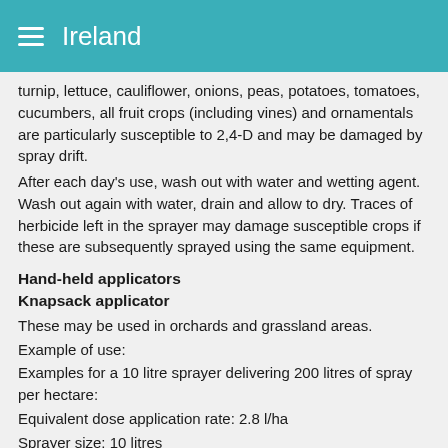Ireland
turnip, lettuce, cauliflower, onions, peas, potatoes, tomatoes, cucumbers, all fruit crops (including vines) and ornamentals are particularly susceptible to 2,4-D and may be damaged by spray drift.
After each day's use, wash out with water and wetting agent. Wash out again with water, drain and allow to dry. Traces of herbicide left in the sprayer may damage susceptible crops if these are subsequently sprayed using the same equipment.
Hand-held applicators
Knapsack applicator
These may be used in orchards and grassland areas.
Example of use:
Examples for a 10 litre sprayer delivering 200 litres of spray per hectare:
Equivalent dose application rate: 2.8 l/ha
Sprayer size: 10 litres
Volume D50 (litres): 0.140
Volume water (litres): 9.860